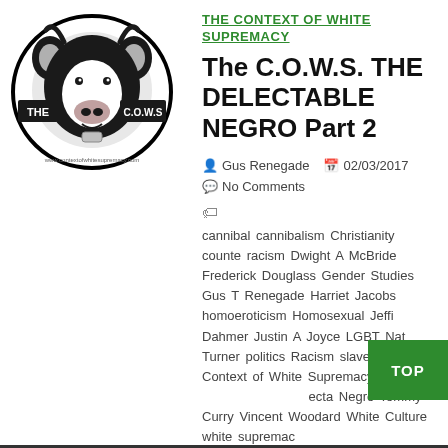[Figure (logo): The C.O.W.S. logo: an oval with a black and white cartoon cow face, text 'THE C.O.W.S' overlaid]
THE CONTEXT OF WHITE SUPREMACY
The C.O.W.S. THE DELECTABLE NEGRO Part 2
Gus Renegade  02/03/2017
No Comments
cannibal cannibalism Christianity counter racism Dwight A McBride Frederick Douglass Gender Studies Gus T Renegade Harriet Jacobs homoeroticism Homosexual Jeffrey Dahmer Justin A Joyce LGBT Nat Turner politics Racism slavery terrorism Context of White Supremacy Delectable Negro Tommy Curry Vincent Woodard White Culture white supremacy